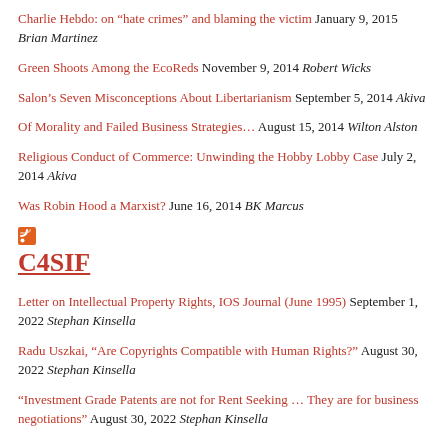Charlie Hebdo: on “hate crimes” and blaming the victim January 9, 2015 Brian Martinez
Green Shoots Among the EcoReds November 9, 2014 Robert Wicks
Salon’s Seven Misconceptions About Libertarianism September 5, 2014 Akiva
Of Morality and Failed Business Strategies… August 15, 2014 Wilton Alston
Religious Conduct of Commerce: Unwinding the Hobby Lobby Case July 2, 2014 Akiva
Was Robin Hood a Marxist? June 16, 2014 BK Marcus
C4SIF
Letter on Intellectual Property Rights, IOS Journal (June 1995) September 1, 2022 Stephan Kinsella
Radu Uszkai, “Are Copyrights Compatible with Human Rights?” August 30, 2022 Stephan Kinsella
“Investment Grade Patents are not for Rent Seeking … They are for business negotiations” August 30, 2022 Stephan Kinsella